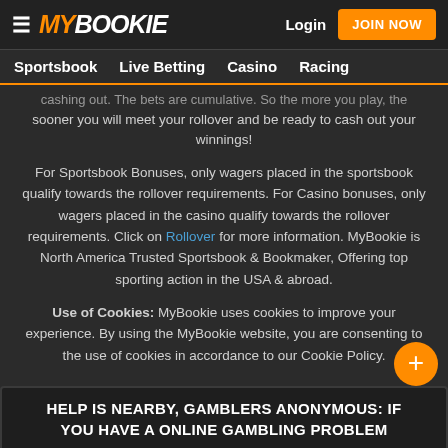MY BOOKIE  Login  JOIN NOW
Sportsbook  Live Betting  Casino  Racing
cashing out. The bets are cumulative. So the more you play, the sooner you will meet your rollover and be ready to cash out your winnings!
For Sportsbook Bonuses, only wagers placed in the sportsbook qualify towards the rollover requirements. For Casino bonuses, only wagers placed in the casino qualify towards the rollover requirements. Click on Rollover for more information. MyBookie is North America Trusted Sportsbook & Bookmaker, Offering top sporting action in the USA & abroad.
Use of Cookies: MyBookie uses cookies to improve your experience. By using the MyBookie website, you are consenting to the use of cookies in accordance to our Cookie Policy.
HELP IS NEARBY, GAMBLERS ANONYMOUS: IF YOU HAVE A ONLINE GAMBLING PROBLEM